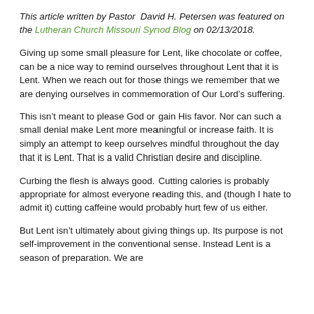This article written by Pastor David H. Petersen was featured on the Lutheran Church Missouri Synod Blog on 02/13/2018.
Giving up some small pleasure for Lent, like chocolate or coffee, can be a nice way to remind ourselves throughout Lent that it is Lent. When we reach out for those things we remember that we are denying ourselves in commemoration of Our Lord’s suffering.
This isn’t meant to please God or gain His favor. Nor can such a small denial make Lent more meaningful or increase faith. It is simply an attempt to keep ourselves mindful throughout the day that it is Lent. That is a valid Christian desire and discipline.
Curbing the flesh is always good. Cutting calories is probably appropriate for almost everyone reading this, and (though I hate to admit it) cutting caffeine would probably hurt few of us either.
But Lent isn’t ultimately about giving things up. Its purpose is not self-improvement in the conventional sense. Instead Lent is a season of preparation. We are...